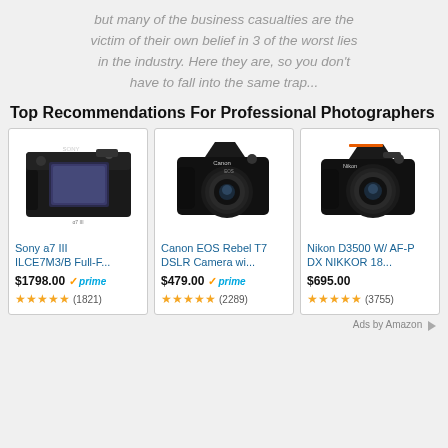but many of the business casualties are the victim of their own belief in 3 of the worst lies in the industry. Here they are, so you don't have to fall into the same trap...
Top Recommendations For Professional Photographers
[Figure (other): Product card: Sony a7 III ILCE7M3/B Full-F... camera image with price $1798.00, Amazon Prime badge, 5 star rating (1821 reviews)]
[Figure (other): Product card: Canon EOS Rebel T7 DSLR Camera wi... camera image with price $479.00, Amazon Prime badge, 5 star rating (2289 reviews)]
[Figure (other): Product card: Nikon D3500 W/ AF-P DX NIKKOR 18... camera image with price $695.00, 5 star rating (3755 reviews)]
Ads by Amazon